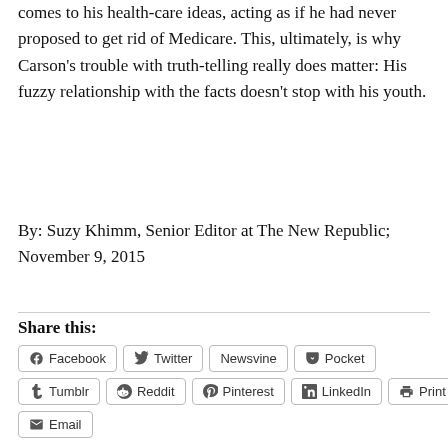comes to his health-care ideas, acting as if he had never proposed to get rid of Medicare. This, ultimately, is why Carson's trouble with truth-telling really does matter: His fuzzy relationship with the facts doesn't stop with his youth.
By: Suzy Khimm, Senior Editor at The New Republic; November 9, 2015
Share this:
Facebook
Twitter
Newsvine
Pocket
Tumblr
Reddit
Pinterest
LinkedIn
Print
Email